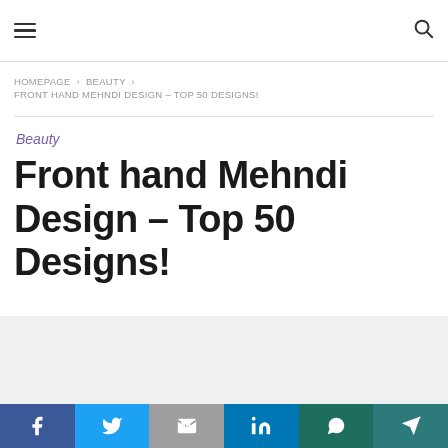≡  [logo area]  🔍
HOMEPAGE › BEAUTY › FRONT HAND MEHNDI DESIGN – TOP 50 DESIGNS!
Beauty
Front hand Mehndi Design – Top 50 Designs!
[Figure (other): Gray placeholder content area]
Facebook | Twitter | Mail | LinkedIn | WhatsApp | Telegram share buttons